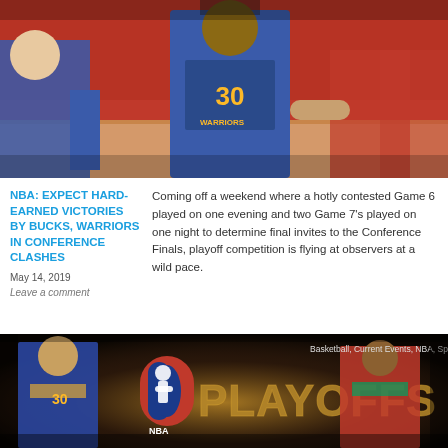[Figure (photo): Basketball game photo showing Golden State Warriors player #30 (Stephen Curry) in blue jersey on court with other players in red jerseys in background crowd]
NBA: EXPECT HARD-EARNED VICTORIES BY BUCKS, WARRIORS IN CONFERENCE CLASHES
May 14, 2019
Leave a comment
Coming off a weekend where a hotly contested Game 6 played on one evening and two Game 7's played on one night to determine final invites to the Conference Finals, playoff competition is flying at observers at a wild pace.
[Figure (photo): NBA Playoffs promotional image featuring Warriors player #30 and Bucks player #34 flanking the NBA logo with 'PLAYOFFS' text. Tags: Basketball, Current Events, NBA, Sports]